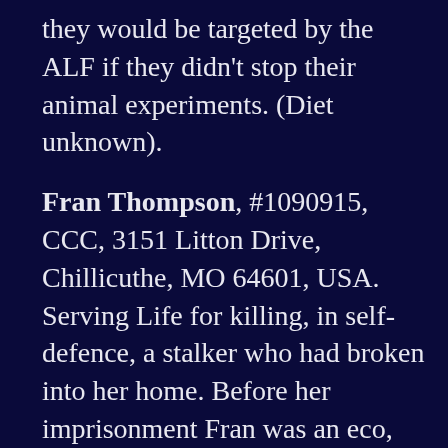they would be targeted by the ALF if they didn't stop their animal experiments. (Diet unknown).
Fran Thompson, #1090915, CCC, 3151 Litton Drive, Chillicuthe, MO 64601, USA. Serving Life for killing, in self-defence, a stalker who had broken into her home. Before her imprisonment Fran was an eco, animal & anti-nuke campaigner. (Fran